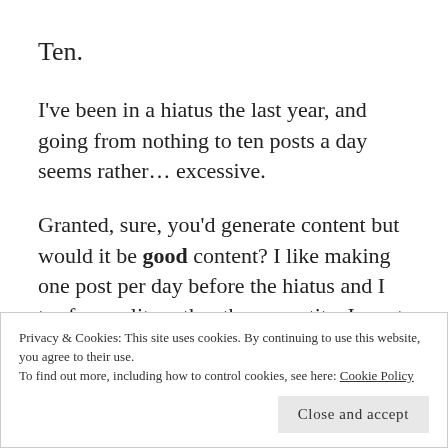Ten.
I've been in a hiatus the last year, and going from nothing to ten posts a day seems rather... excessive.
Granted, sure, you'd generate content but would it be good content? I like making one post per day before the hiatus and I try for quality rather than quantity. I want my blog not only to look nice but to showcase my work well!
Privacy & Cookies: This site uses cookies. By continuing to use this website, you agree to their use.
To find out more, including how to control cookies, see here: Cookie Policy
Close and accept